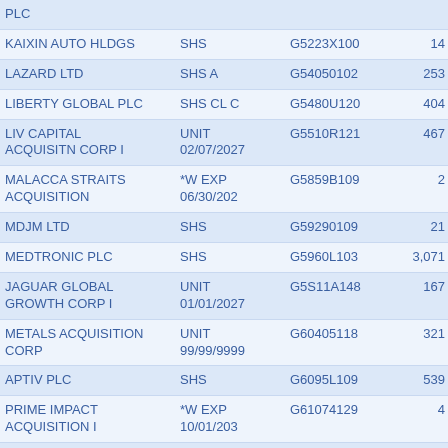| Name | Type | CUSIP | Col4 | Col5 |
| --- | --- | --- | --- | --- |
| PLC |  |  |  |  |
| KAIXIN AUTO HLDGS | SHS | G5223X100 | 14 | 11 |
| LAZARD LTD | SHS A | G54050102 | 253 | 7 |
| LIBERTY GLOBAL PLC | SHS CL C | G5480U120 | 404 | 15 |
| LIV CAPITAL ACQUISITN CORP I | UNIT 02/07/2027 | G5510R121 | 467 | 46 |
| MALACCA STRAITS ACQUISITION | *W EXP 06/30/202 | G5859B109 | 2 | 16 |
| MDJM LTD | SHS | G59290109 | 21 | 10 |
| MEDTRONIC PLC | SHS | G5960L103 | 3,071 | 27 |
| JAGUAR GLOBAL GROWTH CORP I | UNIT 01/01/2027 | G5S11A148 | 167 | 16 |
| METALS ACQUISITION CORP | UNIT 99/99/9999 | G60405118 | 321 | 31 |
| APTIV PLC | SHS | G6095L109 | 539 | 4 |
| PRIME IMPACT ACQUISITION I | *W EXP 10/01/203 | G61074129 | 4 | 15 |
| ALPHA OMEGA | SHS | G6331P104 | 927 | 16 |